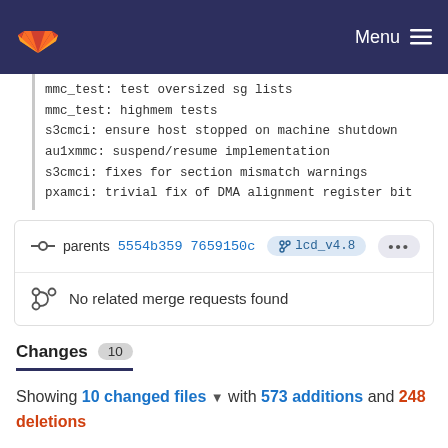GitLab navigation bar with logo and Menu button
mmc_test: test oversized sg lists
mmc_test: highmem tests
s3cmci: ensure host stopped on machine shutdown
au1xmmc: suspend/resume implementation
s3cmci: fixes for section mismatch warnings
pxamci: trivial fix of DMA alignment register bit
parents 5554b359 7659150c lcd_v4.8 •••
No related merge requests found
Changes 10
Showing 10 changed files with 573 additions and 248 deletions